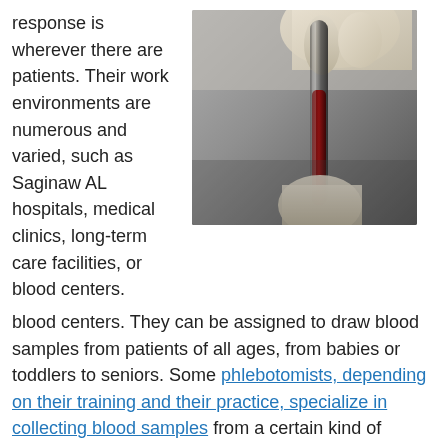response is wherever there are patients. Their work environments are numerous and varied, such as Saginaw AL hospitals, medical clinics, long-term care facilities, or blood centers. They can be assigned to draw blood samples from patients of all ages, from babies or toddlers to seniors. Some phlebotomists, depending on their training and their practice, specialize in collecting blood samples from a certain kind of patient. For instance, those practicing in an assisted living facility or nursing home would exclusively be collecting blood from older patients. If they are practicing in a maternity ward, they would be collecting blood from newborns and
[Figure (photo): A gloved hand holding a blood collection tube with dark red blood in it, against a grey background.]